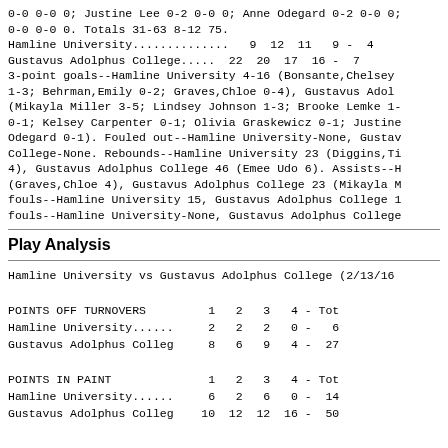0-0 0-0 0; Justine Lee 0-2 0-0 0; Anne Odegard 0-2 0-0 0; 0-0 0-0 0. Totals 31-63 8-12 75.
Hamline University..............  9  12  11   9 -  4
Gustavus Adolphus College.....  22  20  17  16 -  7
3-point goals--Hamline University 4-16 (Bonsante,Chelsey 1-3; Behrman,Emily 0-2; Graves,Chloe 0-4), Gustavus Adol (Mikayla Miller 3-5; Lindsey Johnson 1-3; Brooke Lemke 1- 0-1; Kelsey Carpenter 0-1; Olivia Graskewicz 0-1; Justine Odegard 0-1). Fouled out--Hamline University-None, Gustav College-None. Rebounds--Hamline University 23 (Diggins,Ti 4), Gustavus Adolphus College 46 (Emee Udo 6). Assists--H (Graves,Chloe 4), Gustavus Adolphus College 23 (Mikayla M fouls--Hamline University 15, Gustavus Adolphus College 1 fouls--Hamline University-None, Gustavus Adolphus College
Play Analysis
Hamline University vs Gustavus Adolphus College (2/13/16

POINTS OFF TURNOVERS         1   2   3   4 - Tot
Hamline University......     2   2   2   0 -   6
Gustavus Adolphus Colleg     8   6   9   4 -  27

POINTS IN PAINT              1   2   3   4 - Tot
Hamline University......     6   2   6   0 -  14
Gustavus Adolphus Colleg    10  12  12  16 -  50